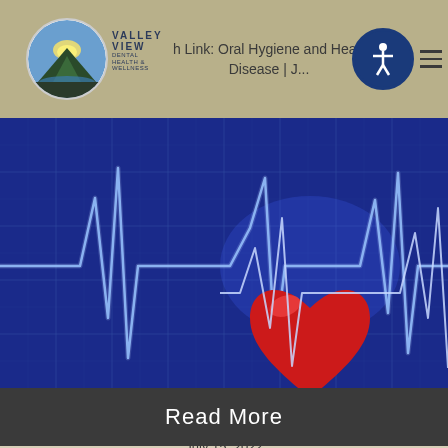Valley View Dental Health & Wellness — The Mouth-Heart Link: Oral Hygiene and Heart Disease | J...
[Figure (photo): ECG heartbeat line with a red 3D heart on a blue grid background, representing the connection between oral hygiene and heart disease.]
Read More
July 15, 2022